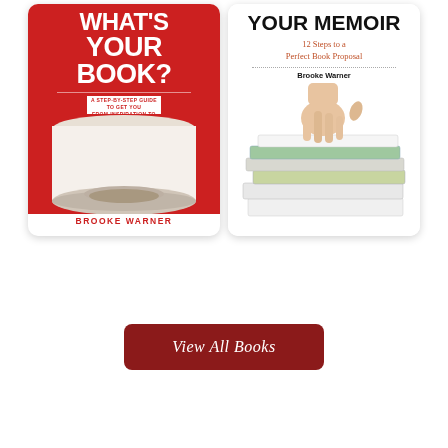[Figure (illustration): Book cover 1: 'What's Your Book?' by Brooke Warner - red cover with scroll/rolled paper graphic, subtitle 'A Step-by-Step Guide to Get You from Inspiration to Published Author']
[Figure (illustration): Book cover 2: 'Your Memoir' by Brooke Warner - white cover with hand touching stacked colorful books, subtitle '12 Steps to a Perfect Book Proposal']
View All Books